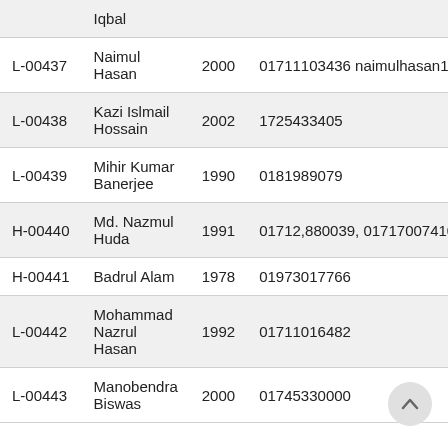| ID | Name | Year | Contact |
| --- | --- | --- | --- |
|  | Iqbal |  |  |
| L-00437 | Naimul Hasan | 2000 | 01711103436 naimulhasan19 |
| L-00438 | Kazi Islmail Hossain | 2002 | 1725433405 |
| L-00439 | Mihir Kumar Banerjee | 1990 | 0181989079 |
| H-00440 | Md. Nazmul Huda | 1991 | 01712,880039, 01717007410 |
| H-00441 | Badrul Alam | 1978 | 01973017766 |
| L-00442 | Mohammad Nazrul Hasan | 1992 | 01711016482 |
| L-00443 | Manobendra Biswas | 2000 | 01745330000 |